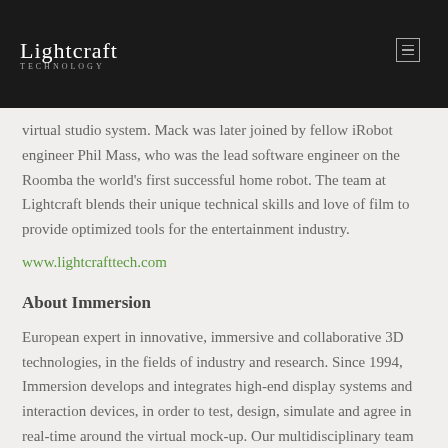Lightcraft Technology
virtual studio system. Mack was later joined by fellow iRobot engineer Phil Mass, who was the lead software engineer on the Roomba the world's first successful home robot. The team at Lightcraft blends their unique technical skills and love of film to provide optimized tools for the entertainment industry.
www.lightcrafttech.com
About Immersion
European expert in innovative, immersive and collaborative 3D technologies, in the fields of industry and research. Since 1994, Immersion develops and integrates high-end display systems and interaction devices, in order to test, design, simulate and agree in real-time around the virtual mock-up. Our multidisciplinary team assists our customers in their innovation process, from the extensive analysis of their needs to their installed solutions maintenance. Among its customers,